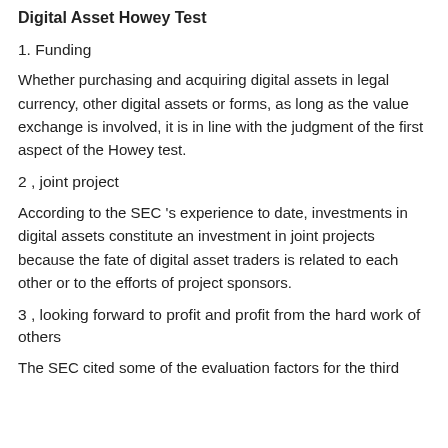Digital Asset Howey Test
1. Funding
Whether purchasing and acquiring digital assets in legal currency, other digital assets or forms, as long as the value exchange is involved, it is in line with the judgment of the first aspect of the Howey test.
2 , joint project
According to the SEC 's experience to date, investments in digital assets constitute an investment in joint projects because the fate of digital asset traders is related to each other or to the efforts of project sponsors.
3 , looking forward to profit and profit from the hard work of others
The SEC cited some of the evaluation factors for the third